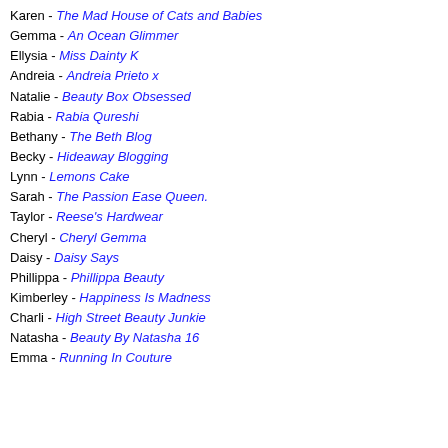Karen - The Mad House of Cats and Babies
Gemma - An Ocean Glimmer
Ellysia - Miss Dainty K
Andreia - Andreia Prieto x
Natalie -  Beauty Box Obsessed
Rabia -  Rabia Qureshi
Bethany - The Beth Blog
Becky - Hideaway Blogging
Lynn - Lemons Cake
Sarah - The Passion Ease Queen.
Taylor - Reese's Hardwear
Cheryl - Cheryl Gemma
Daisy - Daisy Says
Phillippa - Phillippa Beauty
Kimberley - Happiness Is Madness
Charli - High Street Beauty Junkie
Natasha - Beauty By Natasha 16
Emma - Running In Couture